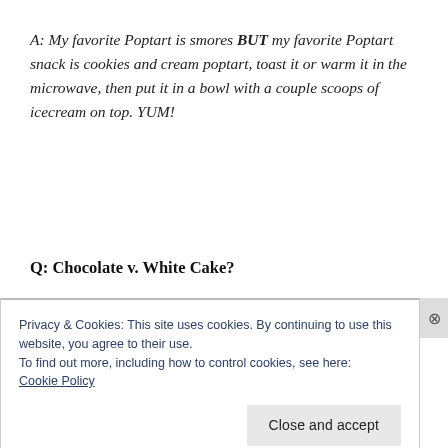A: My favorite Poptart is smores BUT my favorite Poptart snack is cookies and cream poptart, toast it or warm it in the microwave, then put it in a bowl with a couple scoops of icecream on top. YUM!
Q: Chocolate v. White Cake?
Privacy & Cookies: This site uses cookies. By continuing to use this website, you agree to their use.
To find out more, including how to control cookies, see here:
Cookie Policy